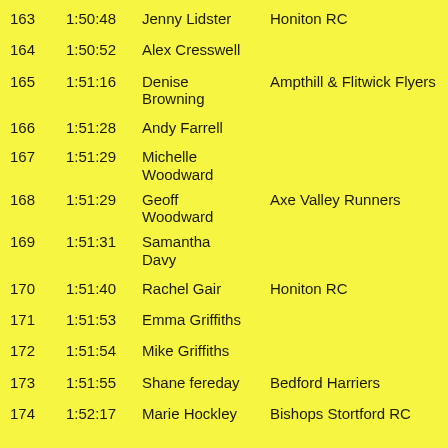| Pos | Time | Name | Club |  |
| --- | --- | --- | --- | --- |
| 163 | 1:50:48 | Jenny Lidster | Honiton RC |  |
| 164 | 1:50:52 | Alex Cresswell |  |  |
| 165 | 1:51:16 | Denise Browning | Ampthill & Flitwick Flyers |  |
| 166 | 1:51:28 | Andy Farrell |  |  |
| 167 | 1:51:29 | Michelle Woodward |  |  |
| 168 | 1:51:29 | Geoff Woodward | Axe Valley Runners |  |
| 169 | 1:51:31 | Samantha Davy |  |  |
| 170 | 1:51:40 | Rachel Gair | Honiton RC |  |
| 171 | 1:51:53 | Emma Griffiths |  |  |
| 172 | 1:51:54 | Mike Griffiths |  |  |
| 173 | 1:51:55 | Shane fereday | Bedford Harriers |  |
| 174 | 1:52:17 | Marie Hockley | Bishops Stortford RC |  |